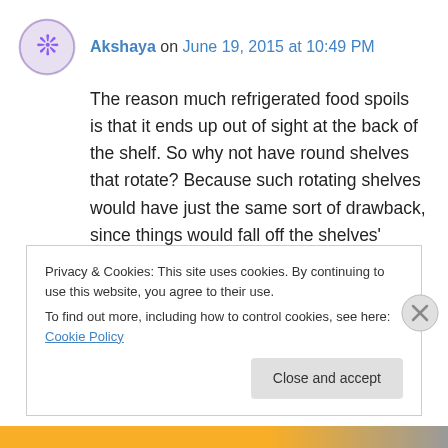Akshaya on June 19, 2015 at 10:49 PM
The reason much refrigerated food spoils is that it ends up out of sight at the back of the shelf. So why not have round shelves that rotate? Because such rotating shelves would have just the same sort of drawback, since things would fall off the shelves' edges into the rear corners.
Which of the following is presupposed in the
Privacy & Cookies: This site uses cookies. By continuing to use this website, you agree to their use.
To find out more, including how to control cookies, see here: Cookie Policy
Close and accept